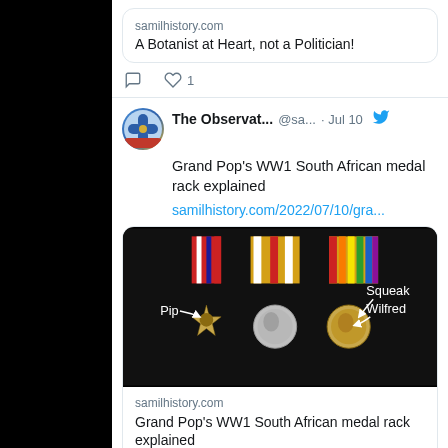samilhistory.com
A Botanist at Heart, not a Politician!
♡ 1
The Observat... @sa... · Jul 10
Grand Pop's WW1 South African medal rack explained
samilhistory.com/2022/07/10/gra...
[Figure (photo): Three WW1 South African medals on black background, labeled Pip, Squeak, and Wilfred with curved arrows]
samilhistory.com
Grand Pop's WW1 South African medal rack explained